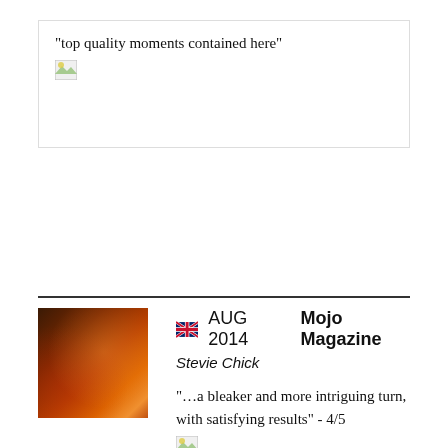"top quality moments contained here"
[Figure (photo): Broken image placeholder]
AUG 2014  Mojo Magazine
Stevie Chick
[Figure (photo): Album cover thumbnail — dark red/orange abstract textured image]
"…a bleaker and more intriguing turn, with satisfying results" - 4/5
[Figure (photo): Broken image placeholder]